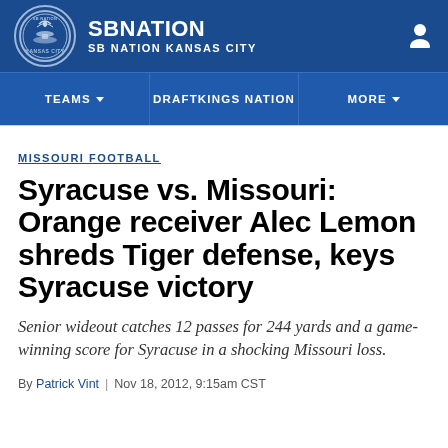SBNATION / SB NATION KANSAS CITY
TEAMS | DRAFTKINGS NATION | MORE
MISSOURI FOOTBALL
Syracuse vs. Missouri: Orange receiver Alec Lemon shreds Tiger defense, keys Syracuse victory
Senior wideout catches 12 passes for 244 yards and a game-winning score for Syracuse in a shocking Missouri loss.
By Patrick Vint | Nov 18, 2012, 9:15am CST